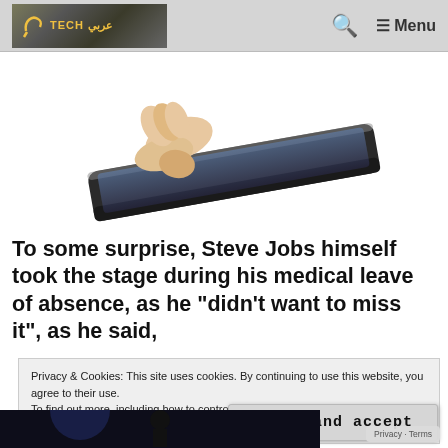TECH (logo) | Search | Menu
[Figure (photo): A hand holding an iPad 2 from its corner, showing the thin profile of the device, white background.]
To some surprise, Steve Jobs himself took the stage during his medical leave of absence, as he “didn’t want to miss it”, as he said,
Privacy & Cookies: This site uses cookies. By continuing to use this website, you agree to their use.
To find out more, including how to control cookies, see here: Cookie Policy
Close and accept
[Figure (photo): Partial view of a person on stage at a dark event.]